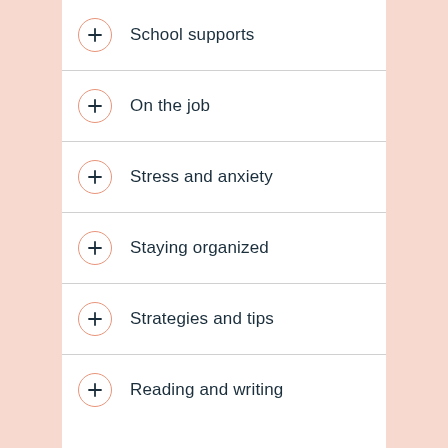School supports
On the job
Stress and anxiety
Staying organized
Strategies and tips
Reading and writing